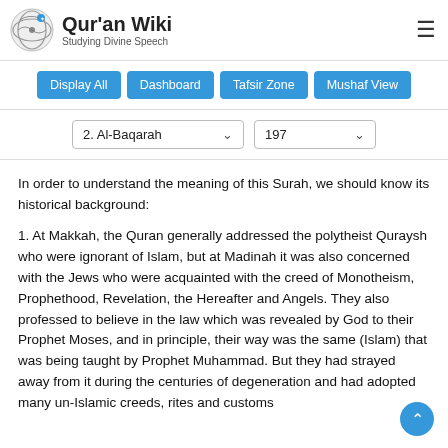Qur'an Wiki — Studying Divine Speech
Display All | Dashboard | Tafsir Zone | Mushaf View
2. Al-Baqarah   197
In order to understand the meaning of this Surah, we should know its historical background:
1. At Makkah, the Quran generally addressed the polytheist Quraysh who were ignorant of Islam, but at Madinah it was also concerned with the Jews who were acquainted with the creed of Monotheism, Prophethood, Revelation, the Hereafter and Angels. They also professed to believe in the law which was revealed by God to their Prophet Moses, and in principle, their way was the same (Islam) that was being taught by Prophet Muhammad. But they had strayed away from it during the centuries of degeneration and had adopted many un-Islamic creeds, rites and customs of the neighbouring nations.